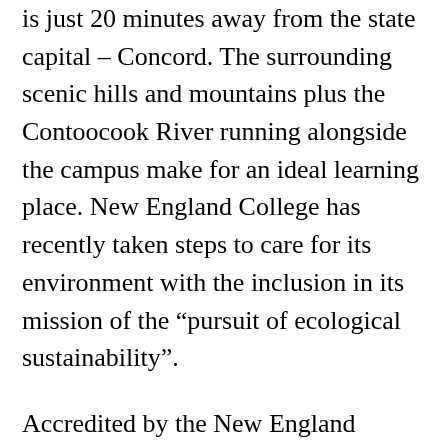is just 20 minutes away from the state capital – Concord. The surrounding scenic hills and mountains plus the Contoocook River running alongside the campus make for an ideal learning place. New England College has recently taken steps to care for its environment with the inclusion in its mission of the “pursuit of ecological sustainability”.
Accredited by the New England Association of Schools and Colleges, Inc., through its Commission on Institutions of Higher Education, New England College offers programs leading to degrees in Bachelor of Arts, Bachelor of Science, Master of Education and Master of Science. The college has grouped its academic programs in three divisions: the Liberal Arts and